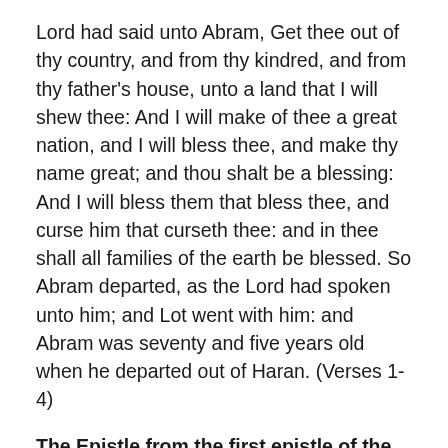Lord had said unto Abram, Get thee out of thy country, and from thy kindred, and from thy father's house, unto a land that I will shew thee: And I will make of thee a great nation, and I will bless thee, and make thy name great; and thou shalt be a blessing: And I will bless them that bless thee, and curse him that curseth thee: and in thee shall all families of the earth be blessed. So Abram departed, as the Lord had spoken unto him; and Lot went with him: and Abram was seventy and five years old when he departed out of Haran. (Verses 1-4)
The Epistle from the first epistle of the holy apostle St. Paul to the Corinthians the fourteenth chapter:  For the preaching of the cross is to them that perish foolishness; but unto us which are saved it is the power of God. For it is written, I will destroy the wisdom of the wise, and will bring to nothing the understanding of the prudent. Where